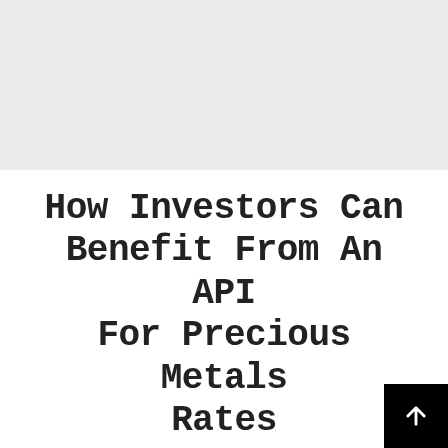[Figure (other): Gray banner image placeholder at the top of the page]
How Investors Can Benefit From An API For Precious Metals Rates
Do you want to profit through investment in precious metals? Do it through metals prices API! Gold and silver have long been acknowledged as precious metals a…